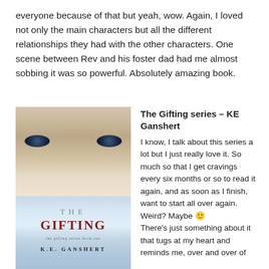everyone because of that but yeah, wow. Again, I loved not only the main characters but all the different relationships they had with the other characters. One scene between Rev and his foster dad had me almost sobbing it was so powerful. Absolutely amazing book.
[Figure (photo): Book cover of 'The Gifting' by K.E. Ganshert — shows a close-up of a young woman's blue eyes and face in the upper portion, with crystalline/icy formations in the lower portion. The title 'THE GIFTING' appears in large text with 'the gifting series book one' subtitle and 'K.E. GANSHERT' author name at the bottom.]
The Gifting series – KE Ganshert
I know, I talk about this series a lot but I just really love it. So much so that I get cravings every six months or so to read it again, and as soon as I finish, want to start all over again. Weird? Maybe 🙂 There's just something about it that tugs at my heart and reminds me, over and over of